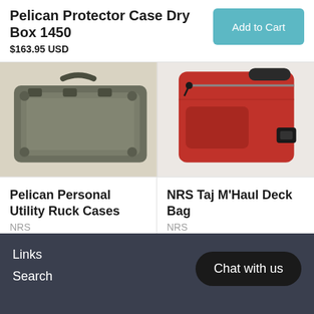Pelican Protector Case Dry Box 1450
$163.95 USD
[Figure (photo): Pelican Protector Case Dry Box 1450 - dark olive/grey hard case shown from above]
[Figure (photo): NRS Taj M'Haul Deck Bag - red bag with black handle shown from above]
Pelican Personal Utility Ruck Cases
NRS
$57.95 USD
NRS Taj M'Haul Deck Bag
NRS
$127.95 USD
Links
Search
Chat with us